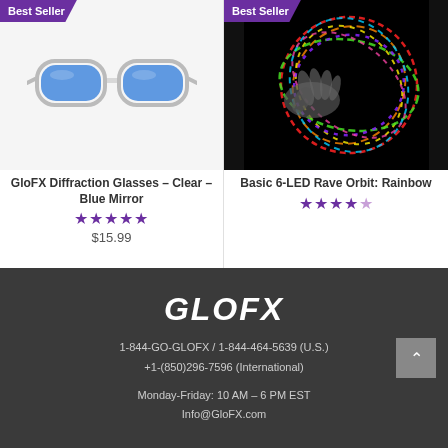[Figure (photo): GloFX Diffraction Glasses - Clear - Blue Mirror product photo on white background with Best Seller badge]
GloFX Diffraction Glasses – Clear – Blue Mirror
★★★★★ $15.99
[Figure (photo): Basic 6-LED Rave Orbit: Rainbow product photo on black background with colorful light trails, Best Seller badge]
Basic 6-LED Rave Orbit: Rainbow ★★★★½
[Figure (logo): GloFX logo in bold italic white text on dark background]
1-844-GO-GLOFX / 1-844-464-5639 (U.S.) +1-(850)296-7596 (International)
Monday-Friday: 10 AM – 6 PM EST Info@GloFX.com